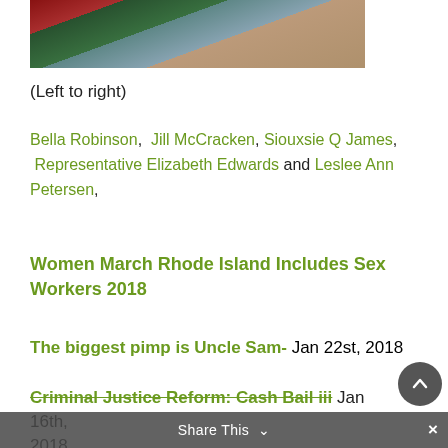[Figure (photo): Partial photo of group of people, cropped at top of page]
(Left to right)
Bella Robinson,  Jill McCracken,  Siouxsie Q James,  Representative Elizabeth Edwards and Leslee Ann Petersen,
Women March Rhode Island Includes Sex Workers 2018
The biggest pimp is Uncle Sam- Jan 22st, 2018
Criminal Justice Reform: Cash Bail iii Jan 16th, 2018